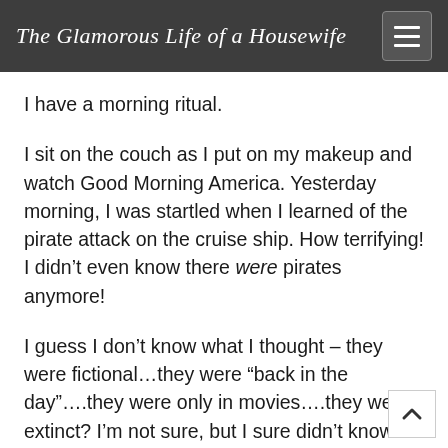The Glamorous Life of a Housewife
I have a morning ritual.
I sit on the couch as I put on my makeup and watch Good Morning America. Yesterday morning, I was startled when I learned of the pirate attack on the cruise ship. How terrifying! I didn’t even know there were pirates anymore!
I guess I don’t know what I thought – they were fictional…they were “back in the day”….they were only in movies….they were extinct? I’m not sure, but I sure didn’t know that there were still pirates invading the seas. Yikes. Sure makes me think twice about my voyage around the world